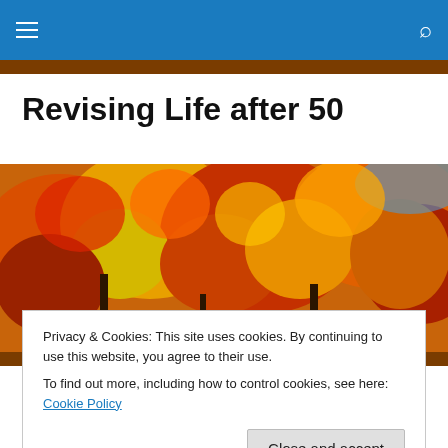Navigation bar with hamburger menu and search icon
Revising Life after 50
[Figure (photo): Autumn foliage panorama — bright red, orange, and yellow fall leaves against a blue sky]
Totoro Family Recipes:
Privacy & Cookies: This site uses cookies. By continuing to use this website, you agree to their use.
To find out more, including how to control cookies, see here: Cookie Policy
Close and accept